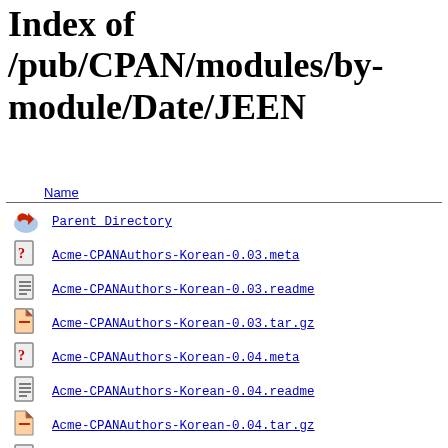Index of /pub/CPAN/modules/by-module/Date/JEEN
| Name |
| --- |
| Parent Directory |
| Acme-CPANAuthors-Korean-0.03.meta |
| Acme-CPANAuthors-Korean-0.03.readme |
| Acme-CPANAuthors-Korean-0.03.tar.gz |
| Acme-CPANAuthors-Korean-0.04.meta |
| Acme-CPANAuthors-Korean-0.04.readme |
| Acme-CPANAuthors-Korean-0.04.tar.gz |
| Acme-CPANAuthors-Korean-0.061.meta |
| Acme-CPANAuthors-Korean-0.061.readme |
| Acme-CPANAuthors-Korean-0.061.tar.gz |